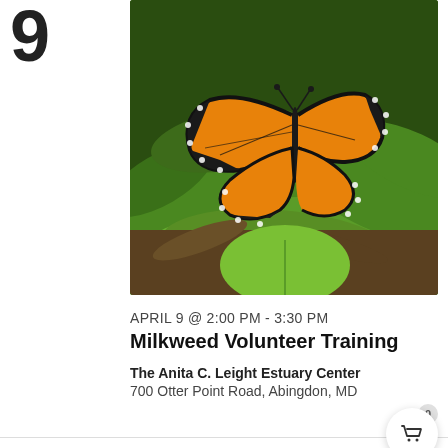9
[Figure (photo): A monarch butterfly with orange, black, and white wings perched on large green milkweed leaves, with forest debris in the background.]
APRIL 9 @ 2:00 PM - 3:30 PM
Milkweed Volunteer Training
The Anita C. Leight Estuary Center
700 Otter Point Road, Abingdon, MD
SUN
[Figure (photo): Partial view of a wooded green landscape, bottom of page.]